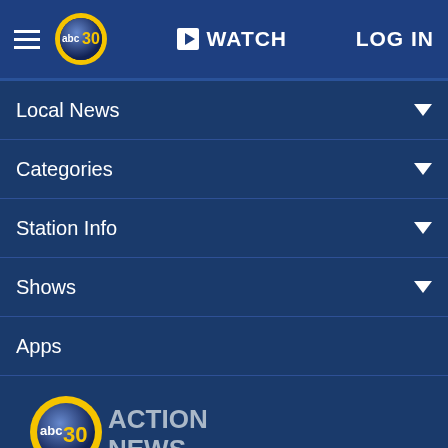abc30 | WATCH | LOG IN
Local News
Categories
Station Info
Shows
Apps
[Figure (logo): abc 30 Action News logo]
Follow Us:
Privacy Policy
Do Not Sell My Personal Information
Children's Privacy Policy